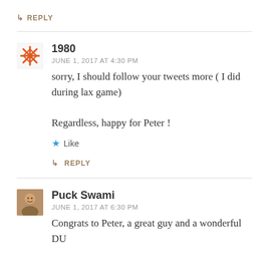↳ REPLY
1980
JUNE 1, 2017 AT 4:30 PM
sorry, I should follow your tweets more ( I did during lax game)

Regardless, happy for Peter !
Like
↳ REPLY
Puck Swami
JUNE 1, 2017 AT 6:30 PM
Congrats to Peter, a great guy and a wonderful DU